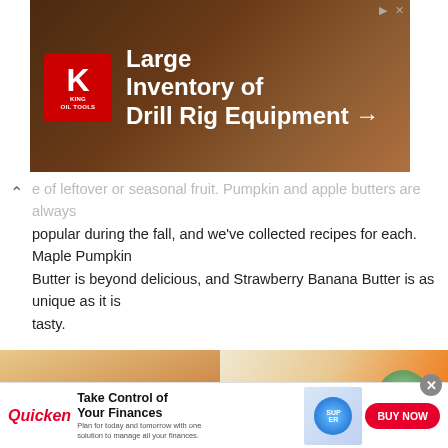[Figure (photo): King Oil Tools advertisement banner: Large Inventory of Drill Rig Equipment with arrow, red K logo on dark brown background]
e of leftover or seasonal fruit. Pumpkin and apple butters are always popular during the fall, and we've collected recipes for each. Maple Pumpkin Butter is beyond delicious, and Strawberry Banana Butter is as unique as it is tasty.
[Figure (photo): Slideshow of food photos: decorated jam jars on left, video player overlay in center with play/back controls and seek bar, orange marmalade/apple butter on right]
Maple Pumpkin Butter
Cinnamon Spice Apple Butter
[Figure (photo): Quicken advertisement: Take Control of Your Finances. Plan for today and tomorrow with one solution to manage all your finances. BUY NOW button. Woman with laptop image.]